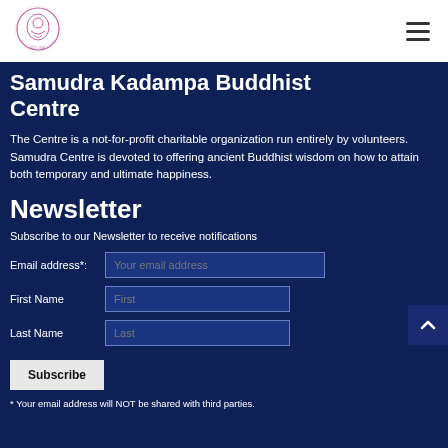[Figure (logo): Samudra Centre circular logo with pink/magenta illustration]
Samudra Kadampa Buddhist Centre
The Centre is a not-for-profit charitable organization run entirely by volunteers. Samudra Centre is devoted to offering ancient Buddhist wisdom on how to attain both temporary and ultimate happiness.
Newsletter
Subscribe to our Newsletter to receive notifications
Email address*: [Your email address input field]
First Name [First input field]
Last Name [Last input field]
Subscribe [button]
* Your email address will NOT be shared with third parties.